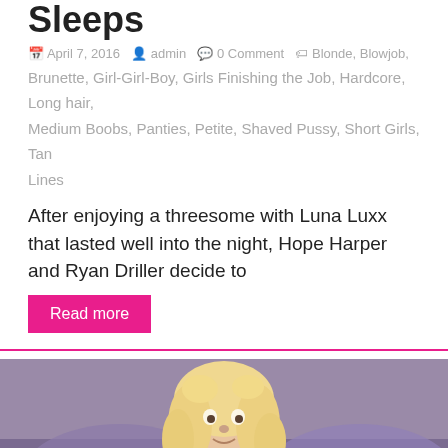Sleeps
April 7, 2016   admin   0 Comment   Blonde, Blowjob, Brunette, Girl-Girl-Boy, Girls Finishing the Job, Hardcore, Long hair, Medium Boobs, Panties, Petite, Shaved Pussy, Short Girls, Tan Lines
After enjoying a threesome with Luna Luxx that lasted well into the night, Hope Harper and Ryan Driller decide to
Read more
[Figure (photo): Blonde woman on a purple bed]